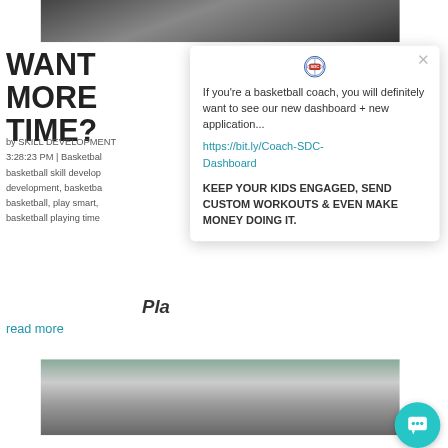[Figure (photo): Black and white photo of a person at top of page]
WANT MORE TIME?
by SKILL DEVELOPMENT 3:28:23 PM | Basketball basketball skill development, basketball development, basketball play smart, basketball playing time
Play
read more
[Figure (logo): SDC basketball logo in popup]
If you're a basketball coach, you will definitely want to see our new dashboard + new application...
https://bit.ly/Coach-SDC-Dashboard
KEEP YOUR KIDS ENGAGED, SEND CUSTOM WORKOUTS & EVEN MAKE MONEY DOING IT.
[Figure (photo): Photo of a person at bottom of page]
[Figure (other): Teal chat button in bottom right corner]